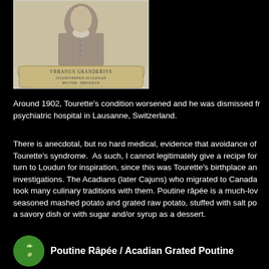[Figure (illustration): Historical engraving portrait of Vrbanus Granderivs, Ivlioevnensis Ecclesiae Rector, MDCXXVII]
Around 1902, Tourette's condition worsened and he was dismissed from psychiatric hospital in Lausanne, Switzerland.
There is anecdotal, but no hard medical, evidence that avoidance of Tourette's syndrome. As such, I cannot legitimately give a recipe for turn to Loudun for inspiration, since this was Tourette's birthplace and investigations. The Acadians (later Cajuns) who migrated to Canada took many culinary traditions with them. Poutine râpée is a much-loved seasoned mashed potato and grated raw potato, stuffed with salt pork, a savory dish or with sugar and/or syrup as a dessert.
[Figure (logo): Green circular logo with decorative script]
Poutine Râpée / Acadian Grated Poutine